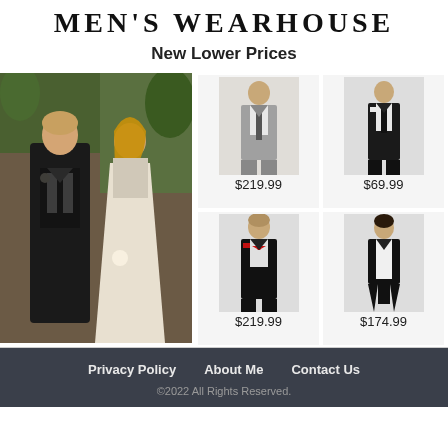MEN'S WEARHOUSE
New Lower Prices
[Figure (photo): A man in a black tuxedo and a woman in a white dress at an outdoor wedding venue]
[Figure (photo): Man wearing a light grey suit, $219.99]
$219.99
[Figure (photo): Man wearing a black suit, $69.99]
$69.99
[Figure (photo): Man wearing a black tuxedo with red bow tie, $219.99]
$219.99
[Figure (photo): Man wearing a black tailcoat with white vest, $174.99]
$174.99
Privacy Policy   About Me   Contact Us
©2022 All Rights Reserved.